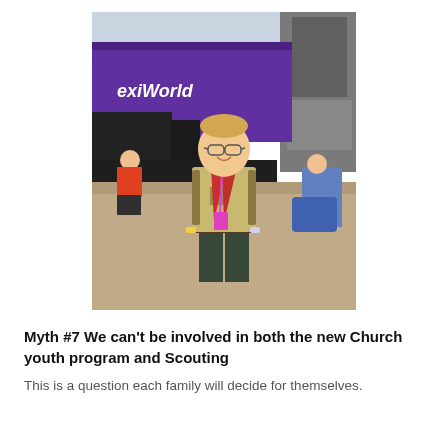[Figure (photo): A young man in a Boy Scout uniform with a red neckerchief and lanyard, smiling, standing outdoors near a purple banner and stage equipment at what appears to be a scouting jamboree event.]
Myth #7 We can't be involved in both the new Church youth program and Scouting
This is a question each family will decide for themselves.